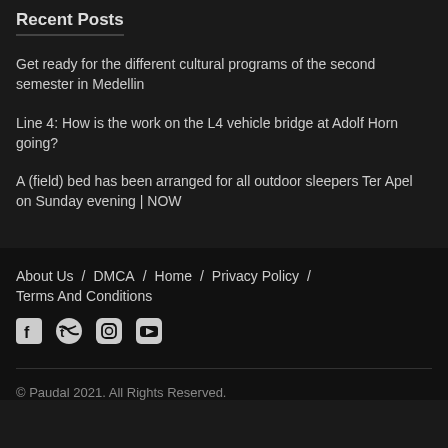Recent Posts
Get ready for the different cultural programs of the second semester in Medellin
Line 4: How is the work on the L4 vehicle bridge at Adolf Horn going?
A (field) bed has been arranged for all outdoor sleepers Ter Apel on Sunday evening | NOW
About Us / DMCA / Home / Privacy Policy / Terms And Conditions
© Paudal 2021. All Rights Reserved.